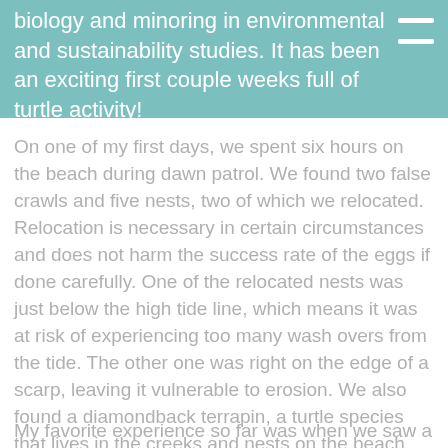biology and minoring in environmental and sustainability studies. It has been an exciting first couple weeks full of turtle activity!
On one of my first days, we spent six hours on the beach during dawn patrol. We found two false crawls and five nests, two of which we relocated. Relocation is necessary in certain circumstances and does not harm the success rate of the eggs if done carefully. One of the relocated nests was just below the high tide line, which means it was at risk of experiencing too many wash overs from the tide. The other one was right on the edge of a scarp, leaving it vulnerable to erosion. We also found a diamondback terrapin, a turtle species that lives in the creeks and nests on the beach. After watching her for a while and trying to release her into the wild, we decided she needed some extra care (she was exhausted, overheated, and malnourished) and took her to the Environmental Learning Center. She is currently at the South Carolina Aquarium being rehabilitated.
My favorite experience so far was when we saw a loggerhead